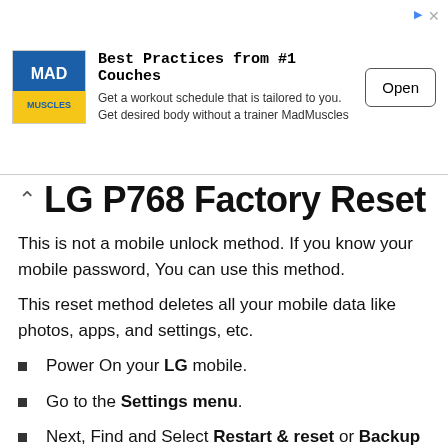[Figure (other): Advertisement banner for MadMuscles app. Logo with yellow and blue 'MAD MUSCLES' text, headline 'Best Practices from #1 Couches', description text 'Get a workout schedule that is tailored to you. Get desired body without a trainer MadMuscles', and an 'Open' button.]
LG P768 Factory Reset
This is not a mobile unlock method. If you know your mobile password, You can use this method.
This reset method deletes all your mobile data like photos, apps, and settings, etc.
Power On your LG mobile.
Go to the Settings menu.
Next, Find and Select Restart & reset or Backup & Reset option.
Afterward, Select the Factory Data Reset option.